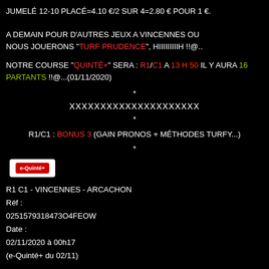JUMELÉ 12-10 PLACÉ=4.10 €/2 SUR 4=2.80 € POUR 1 €.
A DEMAIN POUR D'AUTRES JEUX A VINCENNES OU NOUS JOUERONS "TURF PRUDENCE", HIIIIIIIIIH !!@..
NOTRE COURSE "QUINTÉ+" SERA : R1/C1 A 13 H 50 IL Y AURA 16 PARTANTS !!@...(01/11/2020)
*
XXXXXXXXXXXXXXXXXXXXX
*
R1/C1 : BONUS 3 (GAIN PRONOS + MÉTHODES TURFY...)
*
[Figure (logo): e-Quinté+ logo in red on white background]
R1 C1 - VINCENNES - ARCACHON
Réf :
0251579318473O4FEOW
Date :
02/11/2020 à 00h17
(e-Quinté+ du 02/11)